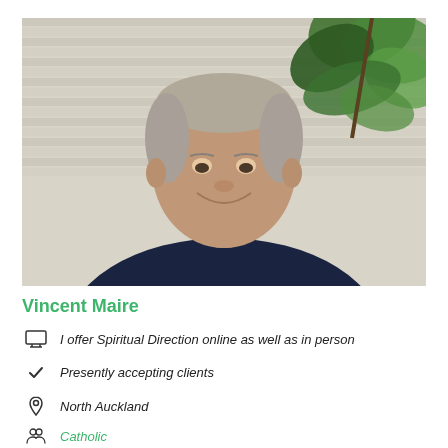[Figure (photo): Portrait photo of an elderly man with short grey hair, smiling, wearing a dark navy V-neck sweater, seated in front of a white weatherboard wall with green leafy plant in background.]
Vincent Maire
I offer Spiritual Direction online as well as in person
Presently accepting clients
North Auckland
Catholic